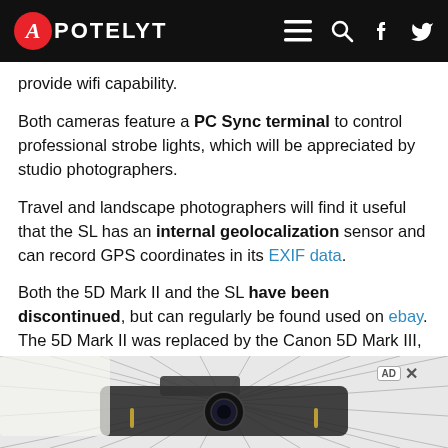APOTELYT
provide wifi capability.
Both cameras feature a PC Sync terminal to control professional strobe lights, which will be appreciated by studio photographers.
Travel and landscape photographers will find it useful that the SL has an internal geolocalization sensor and can record GPS coordinates in its EXIF data.
Both the 5D Mark II and the SL have been discontinued, but can regularly be found used on ebay. The 5D Mark II was replaced by the Canon 5D Mark III, while the SL was followed by the Leica SL2. Further information on the features and operation of the 5D Mark II and SL can be found, respectively, in the Canon 5D Mark II Manual (free pdf) or the online Leica SL Manual.
[Figure (photo): Advertisement banner showing a camera product with comic-style background stripes]